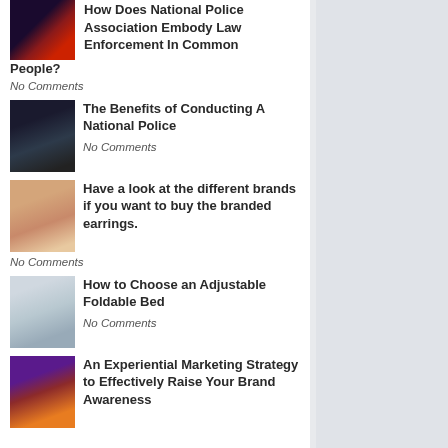How Does National Police Association Embody Law Enforcement In Common People?
No Comments
The Benefits of Conducting A National Police
No Comments
Have a look at the different brands if you want to buy the branded earrings.
No Comments
How to Choose an Adjustable Foldable Bed
No Comments
An Experiential Marketing Strategy to Effectively Raise Your Brand Awareness